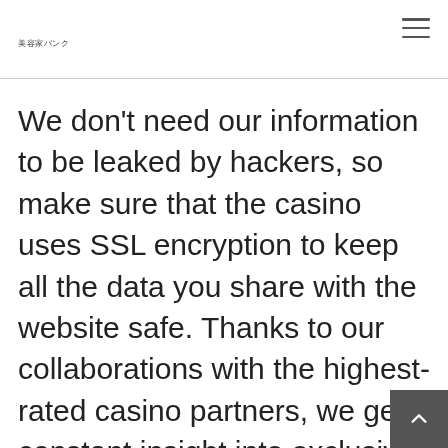美容家バンク
We don't need our information to be leaked by hackers, so make sure that the casino uses SSL encryption to keep all the data you share with the website safe. Thanks to our collaborations with the highest-rated casino partners, we get constant insight into exclusive offers and updates to share with our loyal readers. You can read about them in the top Australian casinos and reviews on this page. A slot is something you spin for